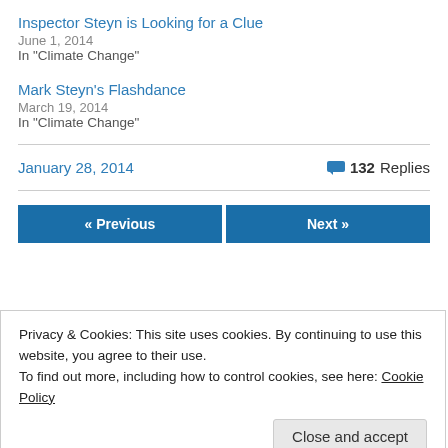Inspector Steyn is Looking for a Clue
June 1, 2014
In "Climate Change"
Mark Steyn's Flashdance
March 19, 2014
In "Climate Change"
January 28, 2014
132 Replies
« Previous
Next »
Privacy & Cookies: This site uses cookies. By continuing to use this website, you agree to their use.
To find out more, including how to control cookies, see here: Cookie Policy
Close and accept
are marked